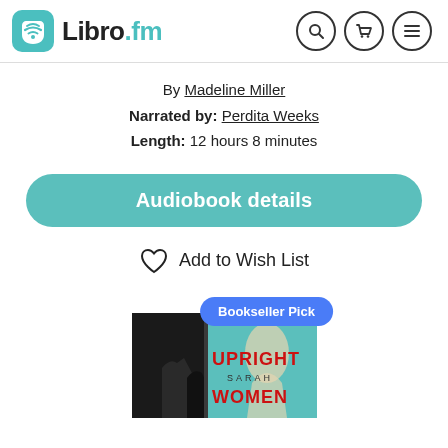Libro.fm
By Madeline Miller
Narrated by: Perdita Weeks
Length: 12 hours 8 minutes
Audiobook details
Add to Wish List
[Figure (illustration): Book cover for 'Upright Women Wanted' by Sarah, partially visible. Teal/green background with silhouetted figures. A 'Bookseller Pick' blue badge is overlaid on top of the cover.]